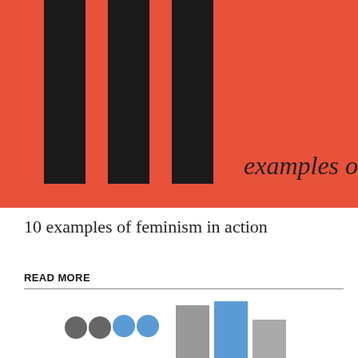[Figure (illustration): Red/coral background with three tall black vertical bars on the left side, and text 'examples of' in dark gray on the lower right of the image, styled as a book or article cover graphic.]
10 examples of feminism in action
READ MORE
[Figure (illustration): Partial bottom image showing stylized figures (dark circles as heads) on the left and bar-chart-like rectangular shapes in blue and gray on the right, appearing to be a cropped infographic or article thumbnail.]